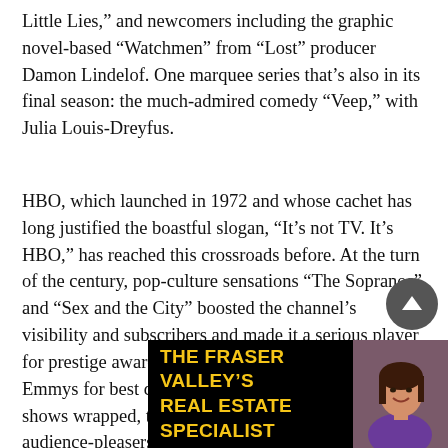Little Lies,” and newcomers including the graphic novel-based “Watchmen” from “Lost” producer Damon Lindelof. One marquee series that’s also in its final season: the much-admired comedy “Veep,” with Julia Louis-Dreyfus.
HBO, which launched in 1972 and whose cachet has long justified the boastful slogan, “It’s not TV. It’s HBO,” has reached this crossroads before. At the turn of the century, pop-culture sensations “The Sopranos” and “Sex and the City” boosted the channel’s visibility and subscribers and made it a serious player for prestige awards — including cable’s first-ever Emmys for best drama and comedy series. After the shows wrapped, the channel moved nimbly on with audience-pleasers including “Six Feet Under” and “True
[Figure (advertisement): Black background advertisement banner reading 'THE FRASER VALLEY'S REAL ESTATE SPECIALIST' in bold yellow text, with a photo of a woman on the right side.]